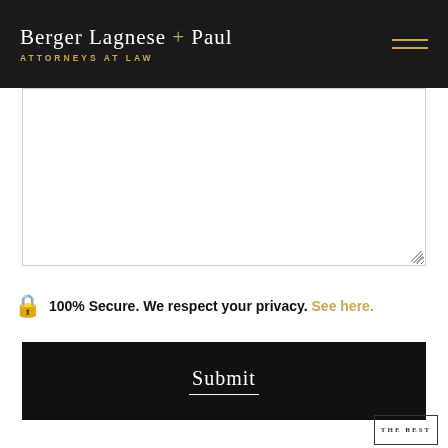Berger Lagnese + Paul — ATTORNEYS AT LAW
[Figure (screenshot): A blank white textarea form input with resize handle in bottom-right corner]
100% Secure. We respect your privacy. See here.
Submit
[Figure (other): Partial badge/award graphic with 'THE BEST' text, partially cut off at bottom right]